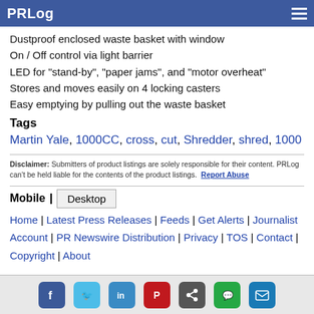PRLog
Dustproof enclosed waste basket with window
On / Off control via light barrier
LED for "stand-by", "paper jams", and "motor overheat"
Stores and moves easily on 4 locking casters
Easy emptying by pulling out the waste basket
Tags
Martin Yale, 1000CC, cross, cut, Shredder, shred, 1000
Disclaimer: Submitters of product listings are solely responsible for their content. PRLog can't be held liable for the contents of the product listings. Report Abuse
Mobile | Desktop
Home | Latest Press Releases | Feeds | Get Alerts | Journalist Account | PR Newswire Distribution | Privacy | TOS | Contact | Copyright | About